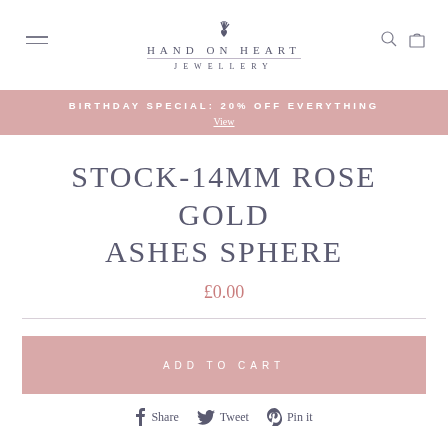HAND ON HEART JEWELLERY
BIRTHDAY SPECIAL: 20% OFF EVERYTHING
View
STOCK-14MM ROSE GOLD ASHES SPHERE
£0.00
ADD TO CART
Share  Tweet  Pin it